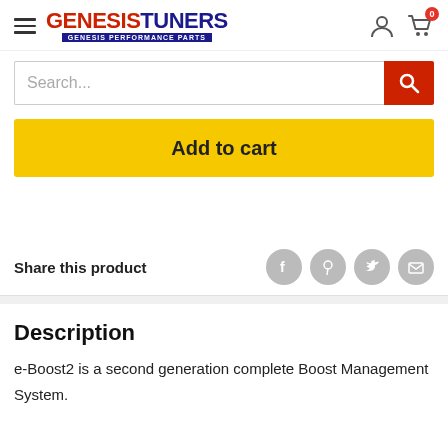GENESISTUNERS — GENESIS PERFORMANCE PARTS
[Figure (screenshot): Search bar with red search button icon]
[Figure (screenshot): Yellow 'Add to cart' button]
Share this product
Description
e-Boost2 is a second generation complete Boost Management System.